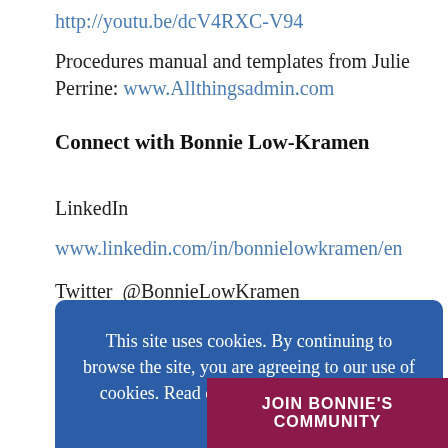http://youtu.be/dcV4RXC-V94
Procedures manual and templates from Julie Perrine: www.Allthingsadmin.com
Connect with Bonnie Low-Kramen
LinkedIn
www.linkedin.com/in/bonnielowkramen/en
Twitter  @BonnieLowKramen
This site uses cookies. By continuing to browse the site, you are agreeing to our use of cookies. Read our Privacy Policy to learn more.
ACCEPT
DECLINE
JOIN BONNIE'S COMMUNITY
Twitter  @